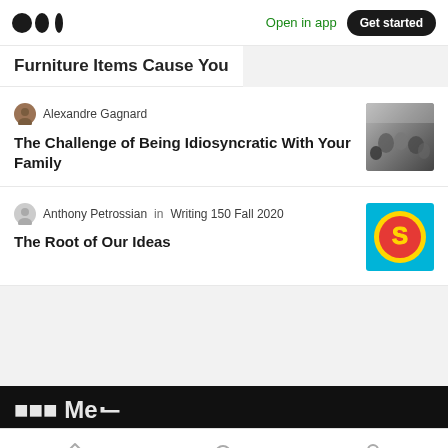Open in app | Get started
Furniture Items Cause You
Alexandre Gagnard
The Challenge of Being Idiosyncratic With Your Family
Anthony Petrossian in Writing 150 Fall 2020
The Root of Our Ideas